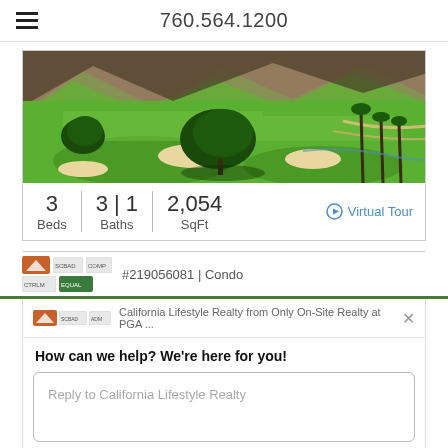760.564.1200
[Figure (photo): Aerial view of a golf course with green fairways, trees, bunkers, and mountains in the background]
3 Beds | 3 | 1 Baths | 2,054 SqFt
Virtual Tour
#219056081 | Condo
California Lifestyle Realty from Only On-Site Realty at PGA ...
How can we help? We're here for you!
Reply to California Lifestyle Realty
Chat ⚡ by Drift